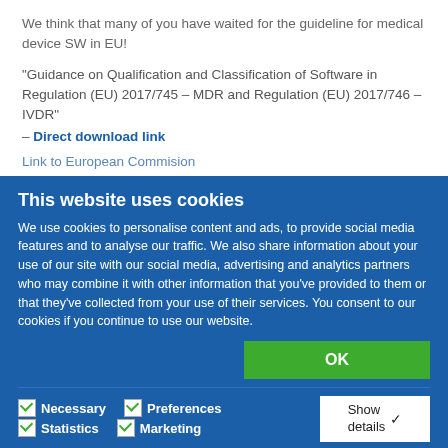We think that many of you have waited for the guideline for medical device SW in EU!
“Guidance on Qualification and Classification of Software in Regulation (EU) 2017/745 – MDR and Regulation (EU) 2017/746 – IVDR”
– Direct download link
Link to European Commision
A short introduction – 191014
Intro to the MDR & IVDR SW Guidance (download link)
This website uses cookies
We use cookies to personalise content and ads, to provide social media features and to analyse our traffic. We also share information about your use of our site with our social media, advertising and analytics partners who may combine it with other information that you’ve provided to them or that they’ve collected from your use of their services. You consent to our cookies if you continue to use our website.
OK
Necessary  Preferences  Statistics  Marketing  Show details